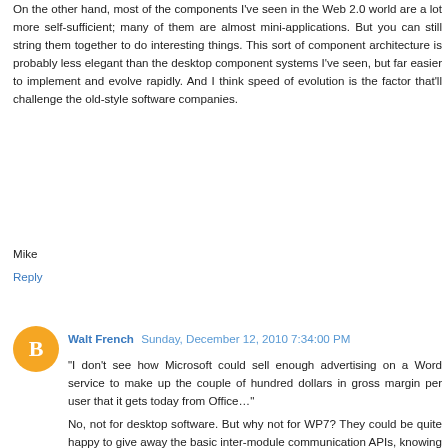On the other hand, most of the components I've seen in the Web 2.0 world are a lot more self-sufficient; many of them are almost mini-applications. But you can still string them together to do interesting things. This sort of component architecture is probably less elegant than the desktop component systems I've seen, but far easier to implement and evolve rapidly. And I think speed of evolution is the factor that'll challenge the old-style software companies.
Mike
Reply
Walt French  Sunday, December 12, 2010 7:34:00 PM
“I don’t see how Microsoft could sell enough advertising on a Word service to make up the couple of hundred dollars in gross margin per user that it gets today from Office…”
No, not for desktop software. But why not for WP7? They could be quite happy to give away the basic inter-module communication APIs, knowing that every install was on a Microsoft-licensed piece of hardware.